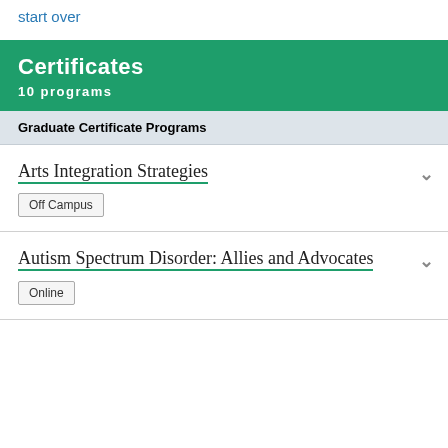start over
Certificates
10 programs
Graduate Certificate Programs
Arts Integration Strategies
Off Campus
Autism Spectrum Disorder: Allies and Advocates
Online